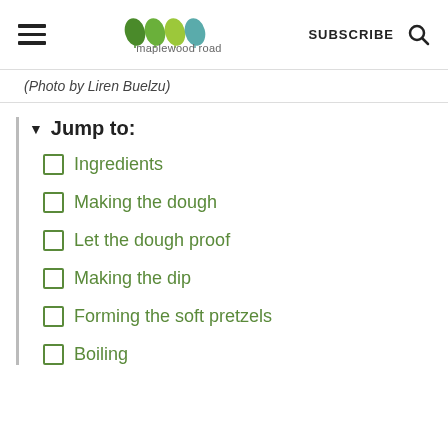maplewood road | SUBSCRIBE
(Photo by Liren Buelzu)
▼ Jump to:
Ingredients
Making the dough
Let the dough proof
Making the dip
Forming the soft pretzels
Boiling